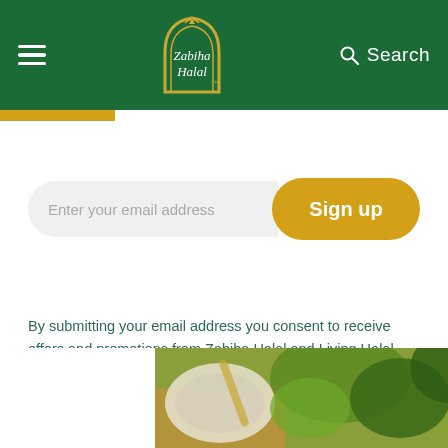Zabiha Halal — Navigation header with hamburger menu, logo, and search
[Figure (screenshot): Food photo at bottom of page showing herbs and bowl]
Enter your email address
Sign up
By submitting your email address you consent to receive offers and promotions from Zabiha Halal and Living Halal. You can unsubscribe at anytime.